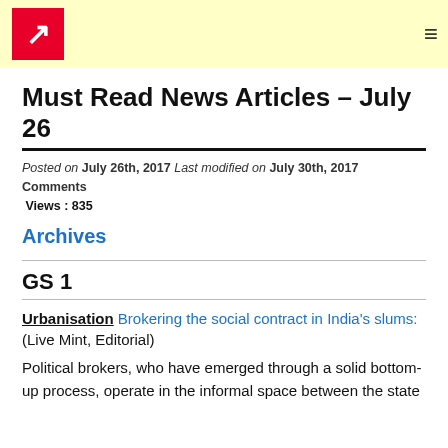[Logo] Must Read News | Navigation menu
Must Read News Articles – July 26
Posted on July 26th, 2017 Last modified on July 30th, 2017 Comments Views : 835
Archives
GS 1
Urbanisation Brokering the social contract in India's slums: (Live Mint, Editorial)
Political brokers, who have emerged through a solid bottom-up process, operate in the informal space between the state